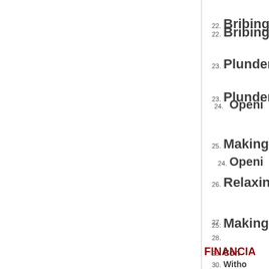22. Bribing (
23. Plunderi
24. Openi
25. Making
26. Relaxing
27.
28.
29. Con
30. Witho
FINANCIA